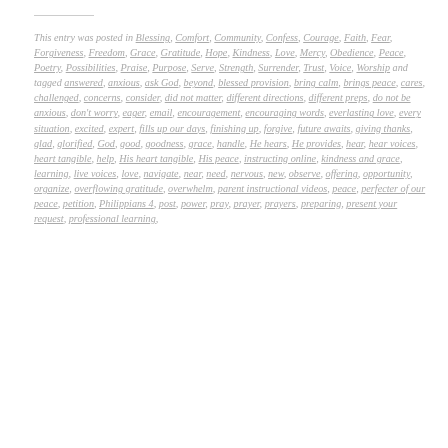This entry was posted in Blessing, Comfort, Community, Confess, Courage, Faith, Fear, Forgiveness, Freedom, Grace, Gratitude, Hope, Kindness, Love, Mercy, Obedience, Peace, Poetry, Possibilities, Praise, Purpose, Serve, Strength, Surrender, Trust, Voice, Worship and tagged answered, anxious, ask God, beyond, blessed provision, bring calm, brings peace, cares, challenged, concerns, consider, did not matter, different directions, different preps, do not be anxious, don't worry, eager, email, encouragement, encouraging words, everlasting love, every situation, excited, expert, fills up our days, finishing up, forgive, future awaits, giving thanks, glad, glorified, God, good, goodness, grace, handle, He hears, He provides, hear, hear voices, heart tangible, help, His heart tangible, His peace, instructing online, kindness and grace, learning, live voices, love, navigate, near, need, nervous, new, observe, offering, opportunity, organize, overflowing gratitude, overwhelm, parent instructional videos, peace, perfecter of our peace, petition, Philippians 4, post, power, pray, prayer, prayers, preparing, present your request, professional learning